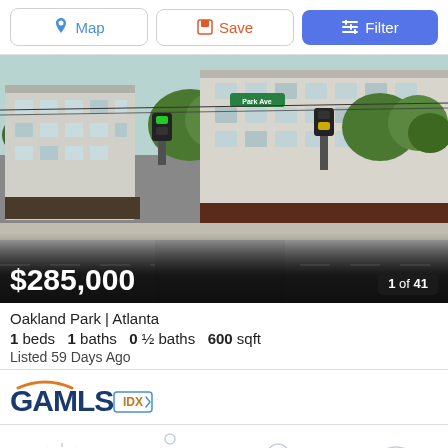[Figure (screenshot): Mobile real estate app toolbar with Map, Save, and Filter buttons]
[Figure (photo): Street-level photo of Oakland Park neighborhood in Atlanta showing a multi-story building, trees, and an intersection]
$285,000
1 of 41
Oakland Park | Atlanta
1 beds  1 baths  0 ½ baths  600 sqft
Listed 59 Days Ago
[Figure (logo): GAMLS IDX logo]
[Figure (illustration): Weather strip showing sun and cloud icons at bottom of page]